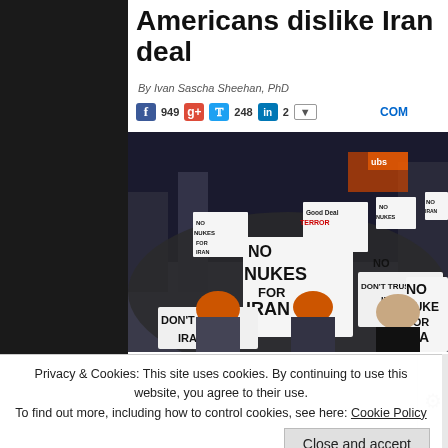Americans dislike Iran deal
By Ivan Sascha Sheehan, PhD
[Figure (photo): Protest rally with people holding signs reading 'NO NUKES FOR IRAN', 'DON'T TRUST IRAN!', 'GOOD DEAL = TERROR' in what appears to be Times Square, New York City at night.]
Privacy & Cookies: This site uses cookies. By continuing to use this website, you agree to their use.
To find out more, including how to control cookies, see here: Cookie Policy
Close and accept